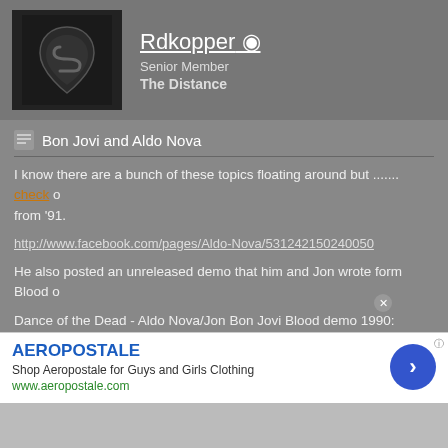Rdkopper
Senior Member
The Distance
Bon Jovi and Aldo Nova
I know there are a bunch of these topics floating around but ....... check o from '91.
http://www.facebook.com/pages/Aldo-Nova/531242150240050
He also posted an unreleased demo that him and Jon wrote form Blood o
Dance of the Dead - Aldo Nova/Jon Bon Jovi Blood demo 1990:
http://f.cl.ly/items/0P2h3Q3D3f380r3...emo%201990.mp3
Blood on the Bricks ,(Trivia about song and Video)
First off this song was written by myself and Jon Bon Jovi,at his house in
Young Guns 2 soundtrack.We sat down in one of the bedrooms upstairs
e started by saying that the gang wars in L.A. were really getting o
[Figure (screenshot): Advertisement for Aeropostale with blue arrow button, infolinks overlay, and close button]